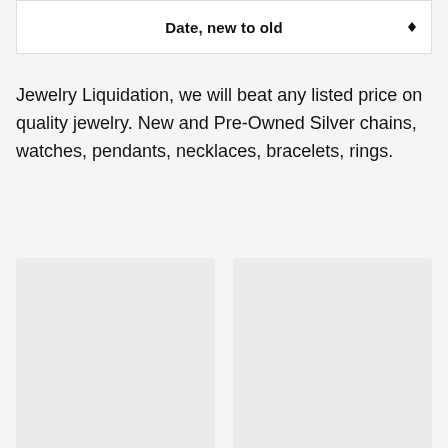Date, new to old
Jewelry Liquidation, we will beat any listed price on quality jewelry. New and Pre-Owned Silver chains, watches, pendants, necklaces, bracelets, rings.
[Figure (other): Two empty product card placeholders in a two-column grid layout]